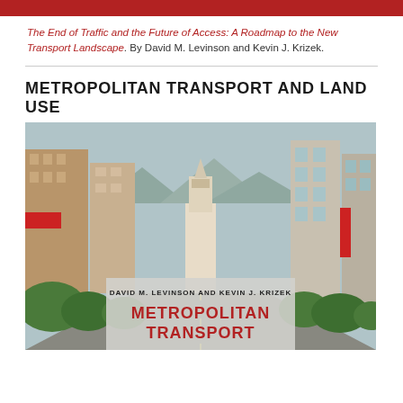The End of Traffic and the Future of Access: A Roadmap to the New Transport Landscape. By David M. Levinson and Kevin J. Krizek.
METROPOLITAN TRANSPORT AND LAND USE
[Figure (photo): Book cover of 'Metropolitan Transport' by David M. Levinson and Kevin J. Krizek, showing a street scene of San Francisco with the Ferry Building clock tower in the background, flanked by urban buildings and trees, with overlay text reading 'DAVID M. LEVINSON AND KEVIN J. KRIZEK' and 'METROPOLITAN TRANSPORT']